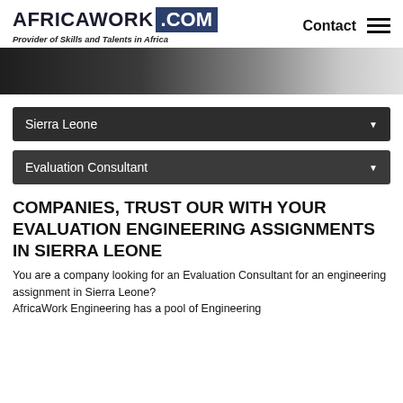AFRICAWORK .COM — Provider of Skills and Talents in Africa
[Figure (photo): Partial photo of a person, dark toned, fading to light grey on the right]
Sierra Leone
Evaluation Consultant
COMPANIES, TRUST OUR WITH YOUR EVALUATION ENGINEERING ASSIGNMENTS IN SIERRA LEONE
You are a company looking for an Evaluation Consultant for an engineering assignment in Sierra Leone?
AfricaWork Engineering has a pool of Engineering